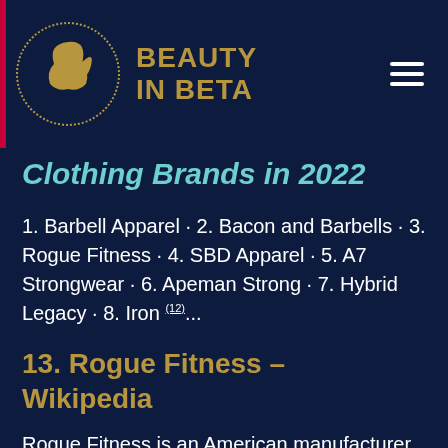BEAUTY IN BETA
Clothing Brands in 2022
1. Barbell Apparel · 2. Bacon and Barbells · 3. Rogue Fitness · 4. SBD Apparel · 5. A7 Strongwear · 6. Apeman Strong · 7. Hybrid Legacy · 8. Iron (12)...
13. Rogue Fitness – Wikipedia
Rogue Fitness is an American manufacturer and distributor of gym